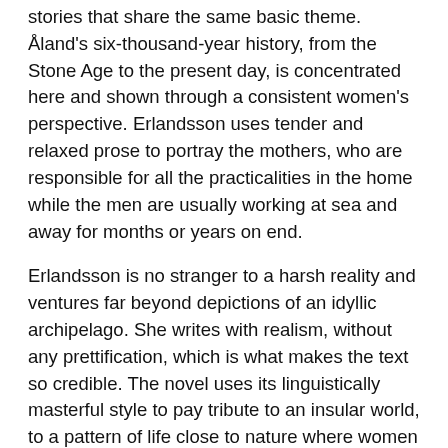stories that share the same basic theme. Åland's six-thousand-year history, from the Stone Age to the present day, is concentrated here and shown through a consistent women's perspective. Erlandsson uses tender and relaxed prose to portray the mothers, who are responsible for all the practicalities in the home while the men are usually working at sea and away for months or years on end.
Erlandsson is no stranger to a harsh reality and ventures far beyond depictions of an idyllic archipelago. She writes with realism, without any prettification, which is what makes the text so credible. The novel uses its linguistically masterful style to pay tribute to an insular world, to a pattern of life close to nature where women bear the ultimate responsibility for the workings of day-to-day life.